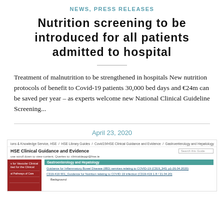NEWS, PRESS RELEASES
Nutrition screening to be introduced for all patients admitted to hospital
Treatment of malnutrition to be strengthened in hospitals New nutrition protocols of benefit to Covid-19 patients 30,000 bed days and €24m can be saved per year – as experts welcome new National Clinical Guideline Screening...
April 23, 2020
[Figure (screenshot): Screenshot of HSE Clinical Guidance and Evidence website showing breadcrumb navigation, search box, red sidebar with menu items, teal Gastroenterology and Hepatology header, and links to guidance documents about COVID-19 nutrition.]